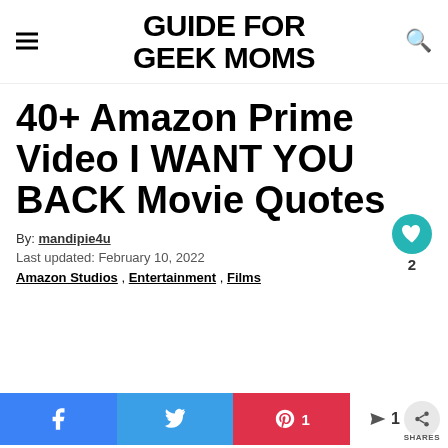GUIDE FOR GEEK MOMS
40+ Amazon Prime Video I WANT YOU BACK Movie Quotes
By: mandipie4u
Last updated: February 10, 2022
Amazon Studios , Entertainment , Films